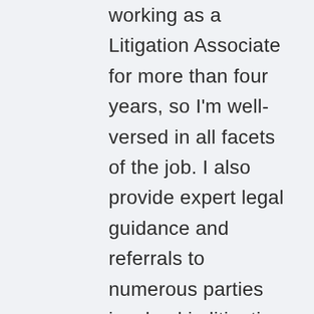working as a Litigation Associate for more than four years, so I'm well-versed in all facets of the job. I also provide expert legal guidance and referrals to numerous parties involved in litigation and interacting with clients to assess their priorities and objectives.
I am a Certified Litigation Specialist with a legal education degree from the New York